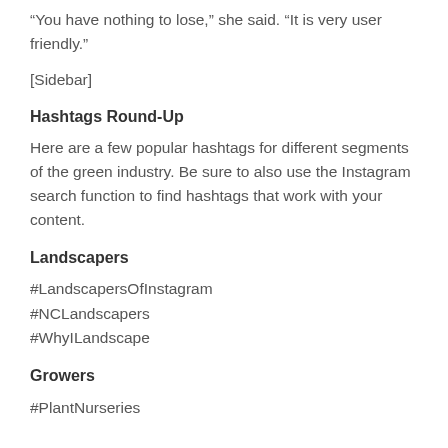“You have nothing to lose,” she said. “It is very user friendly.”
[Sidebar]
Hashtags Round-Up
Here are a few popular hashtags for different segments of the green industry. Be sure to also use the Instagram search function to find hashtags that work with your content.
Landscapers
#LandscapersOfInstagram
#NCLandscapers
#WhyILandscape
Growers
#PlantNurseries